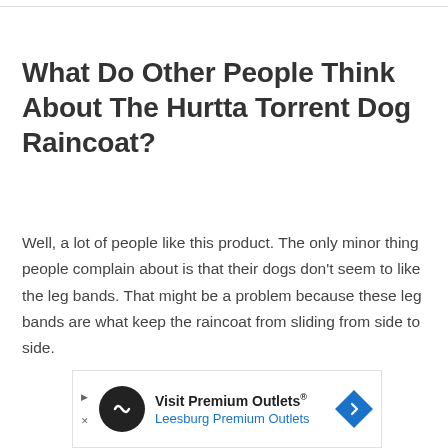What Do Other People Think About The Hurtta Torrent Dog Raincoat?
Well, a lot of people like this product. The only minor thing people complain about is that their dogs don't seem to like the leg bands. That might be a problem because these leg bands are what keep the raincoat from sliding from side to side.
[Figure (other): Advertisement banner for Visit Premium Outlets - Leesburg Premium Outlets, with a circular black logo with infinity symbol, blue text, and a blue diamond-shaped arrow icon.]